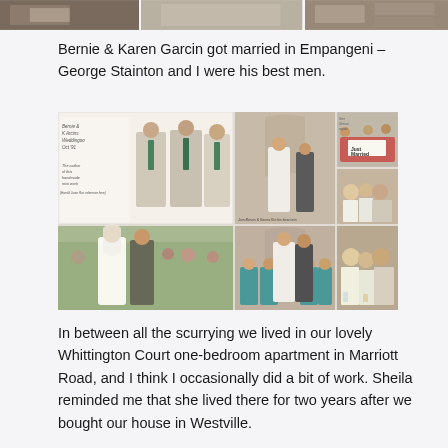[Figure (photo): Partial view of three photographs cropped at top of page]
Bernie & Karen Garcin got married in Empangeni – George Stainton and I were his best men.
[Figure (photo): Collage of six wedding photographs showing the ceremony, bridal party, best men, and guests. Includes handwritten notes on one photo. A 'Just Married' car sign visible in one photo.]
In between all the scurrying we lived in our lovely Whittington Court one-bedroom apartment in Marriott Road, and I think I occasionally did a bit of work. Sheila reminded me that she lived there for two years after we bought our house in Westville.